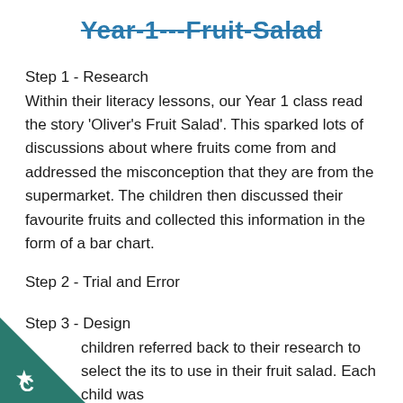Year 1 - Fruit Salad
Step 1 - Research
Within their literacy lessons, our Year 1 class read the story 'Oliver's Fruit Salad'. This sparked lots of discussions about where fruits come from and addressed the misconception that they are from the supermarket. The children then discussed their favourite fruits and collected this information in the form of a bar chart.
Step 2 - Trial and Error
Step 3 - Design
children referred back to their research to select the its to use in their fruit salad. Each child was